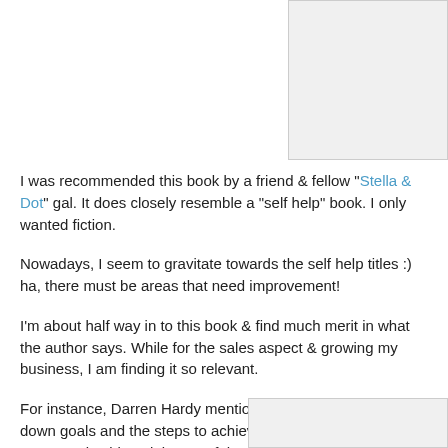[Figure (other): Image placeholder box in top right corner]
I was recommended this book by a friend & fellow "Stella & Dot" gal. It does closely resemble a "self help" book. I only wanted fiction.
Nowadays, I seem to gravitate towards the self help titles :) ha, there must be areas that need improvement!
I'm about half way in to this book & find much merit in what the author says. While for the sales aspect & growing my business, I am finding it so relevant.
For instance, Darren Hardy mentions the power of writing down goals and the steps to achieve said goals. No it's not some genius idea...it is one of those things that is staring you in your face the entire time.
Plus it gave me an excuse for new notebooks :)
Hello, May Designs!
[Figure (other): Image placeholder box in bottom right corner]